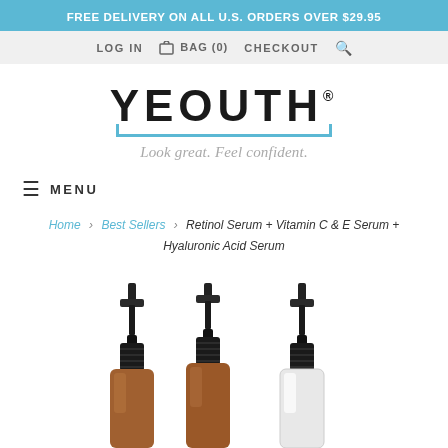FREE DELIVERY ON ALL U.S. ORDERS OVER $29.95
LOG IN  BAG (0)  CHECKOUT
[Figure (logo): YEOUTH logo with tagline 'Look great. Feel confident.' and blue bracket underline]
≡  MENU
Home > Best Sellers > Retinol Serum + Vitamin C & E Serum + Hyaluronic Acid Serum
[Figure (photo): Three amber and clear glass serum bottles with black pump dispensers, partially visible at bottom of page]